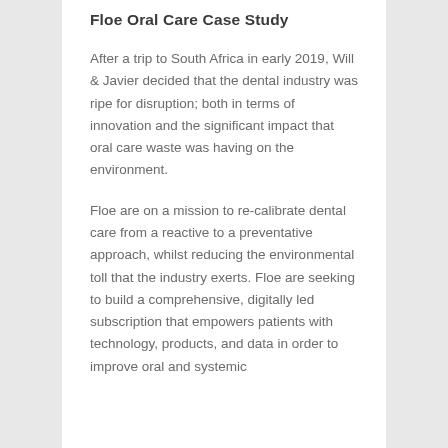Floe Oral Care Case Study
After a trip to South Africa in early 2019, Will & Javier decided that the dental industry was ripe for disruption; both in terms of innovation and the significant impact that oral care waste was having on the environment.
Floe are on a mission to re-calibrate dental care from a reactive to a preventative approach, whilst reducing the environmental toll that the industry exerts. Floe are seeking to build a comprehensive, digitally led subscription that empowers patients with technology, products, and data in order to improve oral and systemic